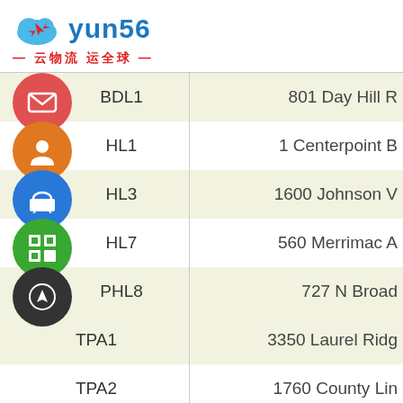[Figure (logo): yun56 logo with cloud and airplane icon, blue text 'yun56', red tagline '— 云物流 运全球 —']
| Code | Address |
| --- | --- |
| BDL1 | 801 Day Hill R... |
| PHL1 | 1 Centerpoint B... |
| PHL3 | 1600 Johnson V... |
| PHL7 | 560 Merrimac A... |
| PHL8 | 727 N Broad ... |
| TPA1 | 3350 Laurel Ridg... |
| TPA2 | 1760 County Lin... |
| MIA1 | 1900 NW 132nd Pla... |